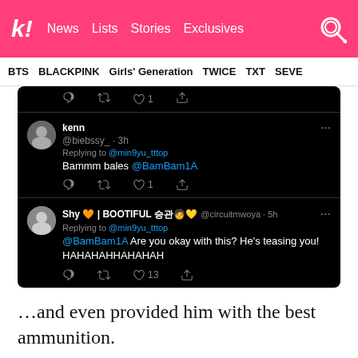k! News Lists Stories Exclusives
BTS BLACKPINK Girls' Generation TWICE TXT SEVE
[Figure (screenshot): Screenshot of tweets on dark background. First partial tweet shows action icons. Second tweet from 'kenn @biebssy_ · 3h' replying to @min9yu_tttop: 'Bammm bales @BamBam1A' with 1 like. Third tweet from 'Shy 🧡 | BOOTIFUL 승관🧑💛 @circuitmwoya · 5h' replying to @min9yu_tttop: '@BamBam1A Are you okay with this? He's teasing you! HAHAHAHHAHAHAH' with 13 likes.]
…and even provided him with the best ammunition.
[Figure (screenshot): Partial bottom tweet card showing avatar, 'hana ●' username, 'Jun 20, 2022' date, and Twitter bird logo.]